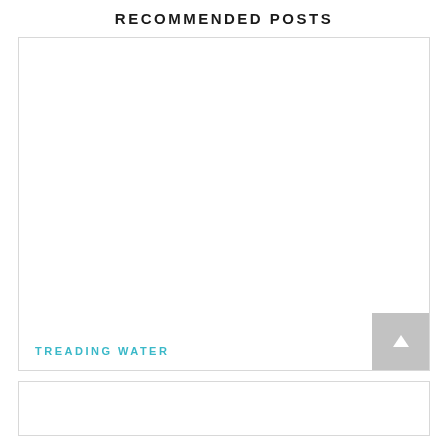RECOMMENDED POSTS
[Figure (other): A post card with a blank white image area and a teal link text reading TREADING WATER, plus a scroll-to-top arrow button in the bottom right corner.]
TREADING WATER
[Figure (other): A second post card partially visible at the bottom with a blank white area.]